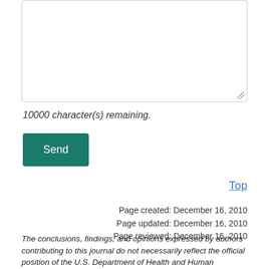[Figure (screenshot): A text input textarea box with a resize handle in the bottom-right corner]
10000 character(s) remaining.
[Figure (screenshot): A teal/green Send button]
Top
Page created: December 16, 2010
Page updated: December 16, 2010
Page reviewed: December 16, 2010
The conclusions, findings, and opinions expressed by authors contributing to this journal do not necessarily reflect the official position of the U.S. Department of Health and Human Services, the Public Health Service, the Centers for Disease Control and Prevention, or the authors' affiliated